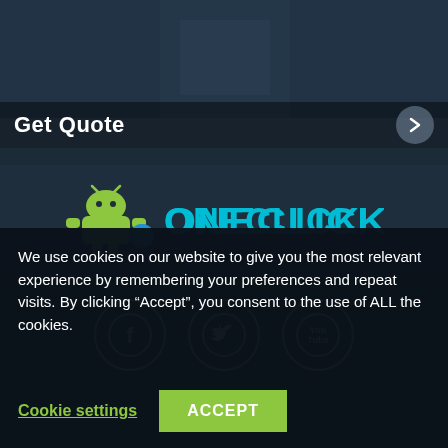[Figure (photo): Top banner photo showing a person (partially visible) with dark overlay, styled as an app/website hero image with a 'Get Quote' button bar and right arrow button at the bottom]
[Figure (logo): OneClickRoot logo: green Android robot mascot holding a blue ball, followed by 'ONECLICKROOT' text with 'ONECLICK' in cyan/blue and 'ROOT' in green on dark background]
[Figure (illustration): Three circular social media icons side by side: Facebook (f), Twitter (bird), YouTube (You Tube), each in a dark circle with white border and white icon]
We use cookies on our website to give you the most relevant experience by remembering your preferences and repeat visits. By clicking “Accept”, you consent to the use of ALL the cookies.
Cookie settings
ACCEPT